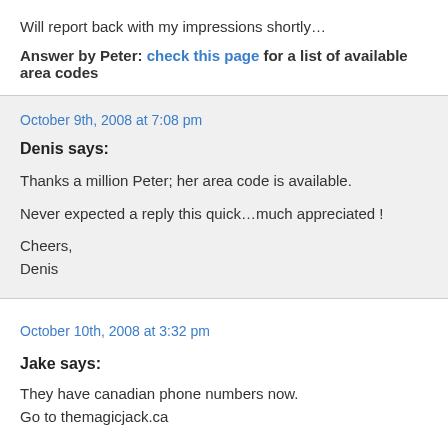Will report back with my impressions shortly…
Answer by Peter: check this page for a list of available area codes
October 9th, 2008 at 7:08 pm
Denis says:
Thanks a million Peter; her area code is available.
Never expected a reply this quick…much appreciated !
Cheers,
Denis
October 10th, 2008 at 3:32 pm
Jake says:
They have canadian phone numbers now.
Go to themagicjack.ca